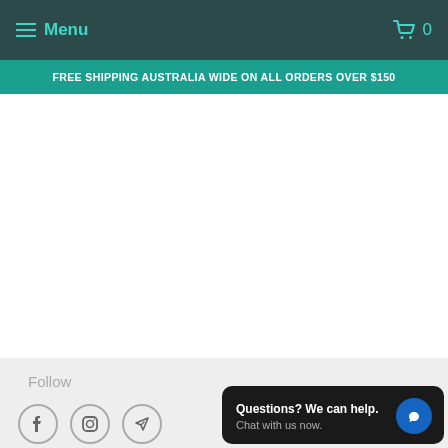Menu  0
FREE SHIPPING AUSTRALIA WIDE ON ALL ORDERS OVER $150
In Between ... Opera House
from $195.00
Follow
[Figure (other): Social media icons: Facebook, Instagram, and Telegram/send]
About us
Our Vision
Our Products
Questions? We can help. Chat with us now.